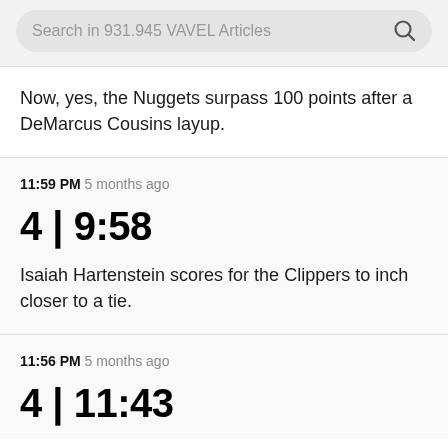Search in 931.945 VAVEL Articles
Now, yes, the Nuggets surpass 100 points after a DeMarcus Cousins layup.
11:59 PM 5 months ago
4 | 9:58
Isaiah Hartenstein scores for the Clippers to inch closer to a tie.
11:56 PM 5 months ago
4 | 11:43